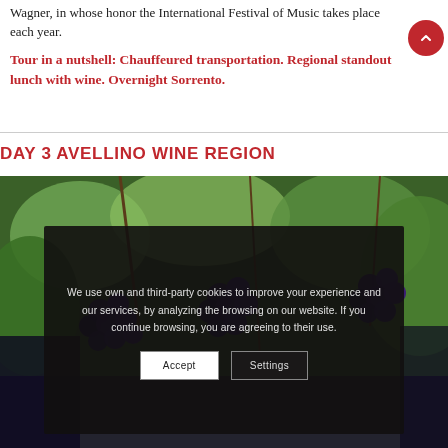Wagner, in whose honor the International Festival of Music takes place each year.
Tour in a nutshell: Chauffeured transportation. Regional standout lunch with wine. Overnight Sorrento.
DAY 3 AVELLINO WINE REGION
[Figure (photo): Vineyard photo showing dark purple/blue grapes hanging from vines with green leaves in background]
We use own and third-party cookies to improve your experience and our services, by analyzing the browsing on our website. If you continue browsing, you are agreeing to their use.
Accept   Settings